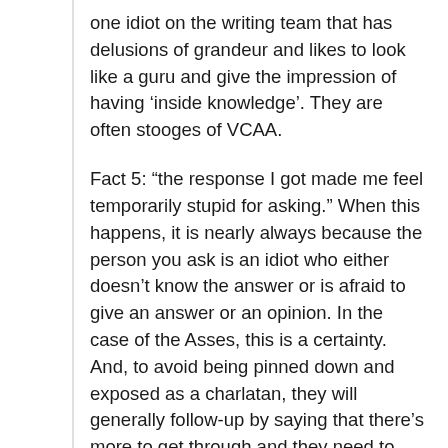one idiot on the writing team that has delusions of grandeur and likes to look like a guru and give the impression of having 'inside knowledge'. They are often stooges of VCAA.
Fact 5: “the response I got made me feel temporarily stupid for asking.” When this happens, it is nearly always because the person you ask is an idiot who either doesn’t know the answer or is afraid to give an answer or an opinion. In the case of the Asses, this is a certainty. And, to avoid being pinned down and exposed as a charlatan, they will generally follow-up by saying that there’s more to get through and they need to move on. I’d love to see a united front from all attendees when this happens and demand for...